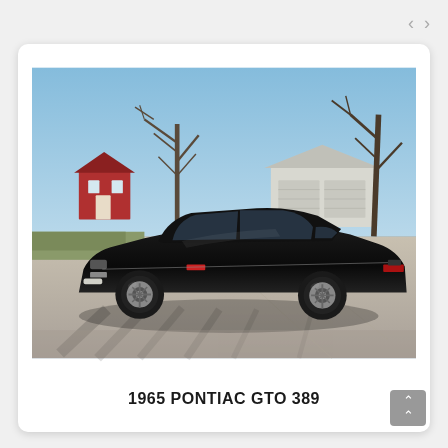[Figure (photo): 1965 Pontiac GTO 389 black muscle car parked on a concrete driveway, photographed outdoors with bare trees, a red building and a white garage in the background, under a blue sky.]
1965 PONTIAC GTO 389